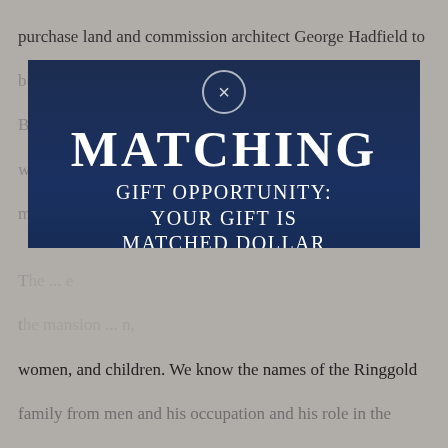purchase land and commission architect George Hadfield to build ... for the New Hampshire ...
[Figure (infographic): A modal popup overlay on a document page background. The modal has a dark navy blue background with a nighttime outdoor scene photo. At the top center is a circular close button (X). The main text reads 'MATCHING' in large bold uppercase serif font, followed by 'GIFT OPPORTUNITY: YOUR GIFT IS MATCHED DOLLAR FOR DOLLAR TODAY!' in smaller uppercase serif font. Below the modal is a salmon/rose-colored button labeled 'Match My Gift' in italic white serif font.]
women, and children. We know the names of the Ringgold family from men and his occupation and his role in the ...